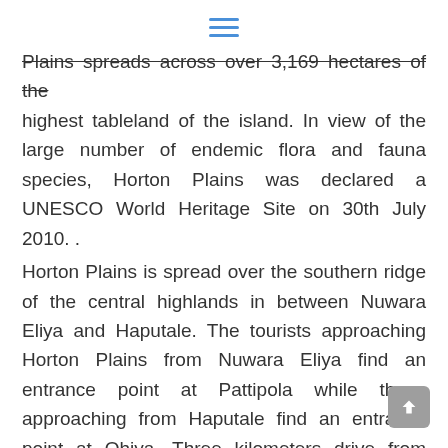≡
Plains spreads across over 3,169 hectares of the highest tableland of the island. In view of the large number of endemic flora and fauna species, Horton Plains was declared a UNESCO World Heritage Site on 30th July 2010. .
Horton Plains is spread over the southern ridge of the central highlands in between Nuwara Eliya and Haputale. The tourists approaching Horton Plains from Nuwara Eliya find an entrance point at Pattipola while those approaching from Haputale find an entrance point at Ohiya. Three kilometers drive from either entrance leads to the newly built visitors center. Visitors center exhibits interesting displays on the history of flora and fauna of Horton